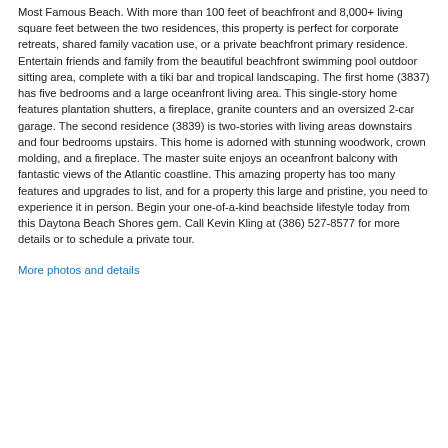Most Famous Beach. With more than 100 feet of beachfront and 8,000+ living square feet between the two residences, this property is perfect for corporate retreats, shared family vacation use, or a private beachfront primary residence. Entertain friends and family from the beautiful beachfront swimming pool outdoor sitting area, complete with a tiki bar and tropical landscaping. The first home (3837) has five bedrooms and a large oceanfront living area. This single-story home features plantation shutters, a fireplace, granite counters and an oversized 2-car garage. The second residence (3839) is two-stories with living areas downstairs and four bedrooms upstairs. This home is adorned with stunning woodwork, crown molding, and a fireplace. The master suite enjoys an oceanfront balcony with fantastic views of the Atlantic coastline. This amazing property has too many features and upgrades to list, and for a property this large and pristine, you need to experience it in person. Begin your one-of-a-kind beachside lifestyle today from this Daytona Beach Shores gem. Call Kevin Kling at (386) 527-8577 for more details or to schedule a private tour.
More photos and details